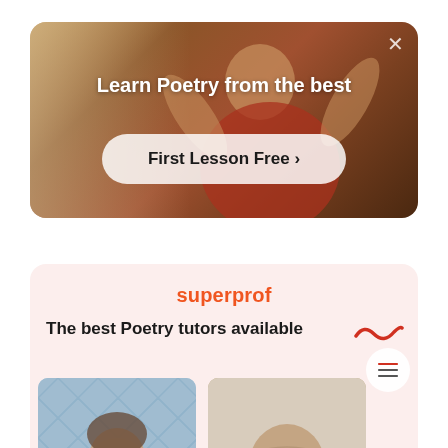[Figure (screenshot): Video banner with person in red shirt, blurred indoor background, warm tones]
Learn Poetry from the best
First Lesson Free >
[Figure (screenshot): Superprof tutoring platform card with logo, title, and two tutor portrait photos]
superprof
The best Poetry tutors available